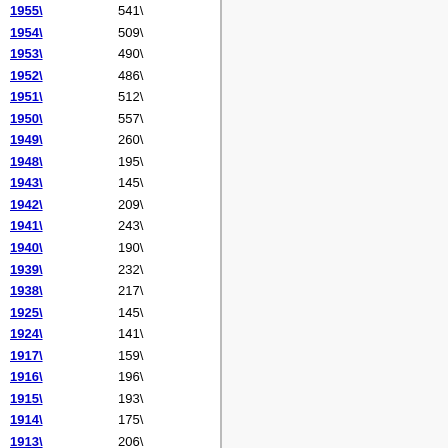1955  541
1954  509
1953  490
1952  486
1951  512
1950  557
1949  260
1948  195
1943  145
1942  209
1941  243
1940  190
1939  232
1938  217
1925  145
1924  141
1917  159
1916  196
1915  193
1914  175
1913  206
1912  261
1911  243